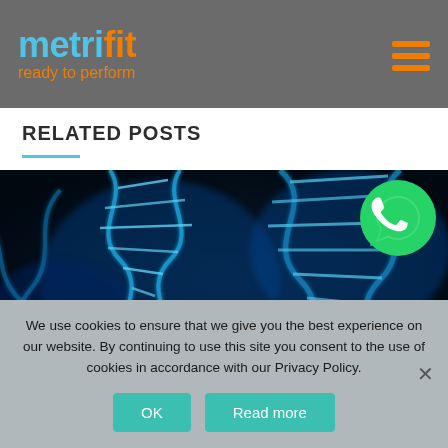metrifit ready to perform
RELATED POSTS
[Figure (photo): Close-up digital illustration of blue glowing DNA double helix strands on a dark background]
[Figure (logo): WhatsApp green circular icon with white phone handset]
We use cookies to ensure that we give you the best experience on our website. By continuing to use this site you consent to the use of cookies in accordance with our Privacy Policy.
OK   Read more